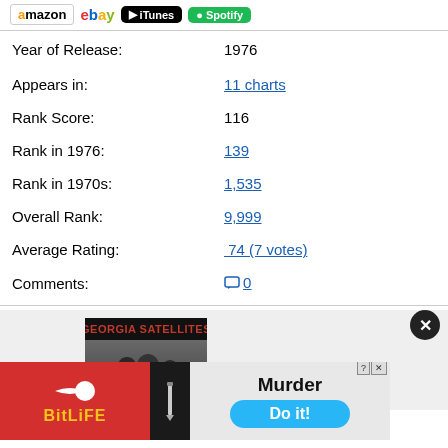amazon | ebay | iTunes | Spotify
Year of Release: 1976
Appears in: 11 charts
Rank Score: 116
Rank in 1976: 139
Rank in 1970s: 1,535
Overall Rank: 9,999
Average Rating: 74 (7 votes)
Comments: 0
10000.
[Figure (photo): Georgia Satellites album cover showing band photo in black and white with red logo text at top]
[Figure (other): BitLife advertisement banner with Murder and Do it! text]